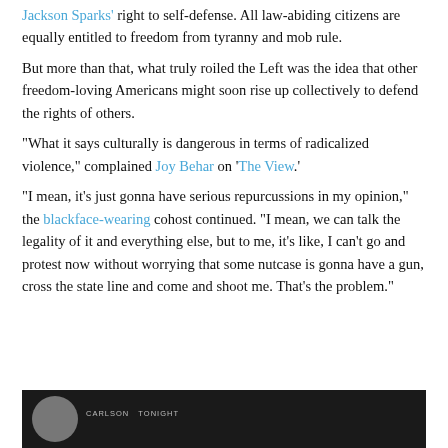Jackson Sparks' right to self-defense. All law-abiding citizens are equally entitled to freedom from tyranny and mob rule.
But more than that, what truly roiled the Left was the idea that other freedom-loving Americans might soon rise up collectively to defend the rights of others.
“What it says culturally is dangerous in terms of radicalized violence,” complained Joy Behar on ‘The View.’
“I mean, it’s just gonna have serious repurcussions in my opinion,” the blackface-wearing cohost continued. “I mean, we can talk the legality of it and everything else, but to me, it’s like, I can’t go and protest now without worrying that some nutcase is gonna have a gun, cross the state line and come and shoot me. That’s the problem.”
[Figure (screenshot): Bottom portion of a video thumbnail showing a TV news segment, dark background with a circular avatar/headshot on the left and a label reading CARLSON TONIGHT or similar text.]